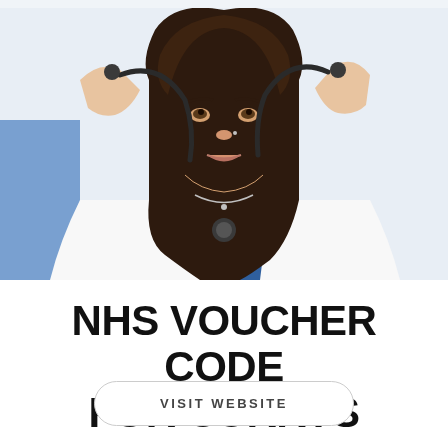[Figure (photo): A young woman in a white lab coat holding a stethoscope behind her neck with both hands, looking at the camera. She is wearing a blue top underneath and has long dark hair. The background is light with a hint of blue.]
NHS VOUCHER CODE FOR CURRYS
VISIT WEBSITE